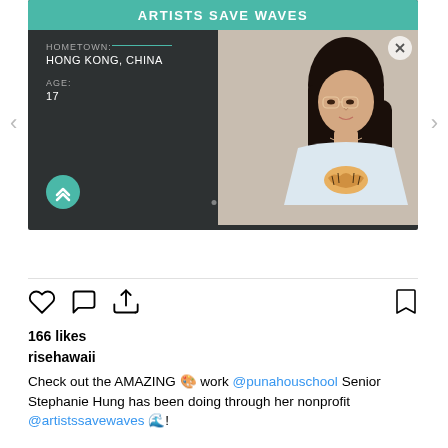[Figure (screenshot): Instagram post screenshot showing 'Artists Save Waves' card with a young woman, hometown Hong Kong China, age 17, teal logo, navigation arrows on sides]
View more on Instagram
166 likes
risehawaii
Check out the AMAZING 🎨 work @punahouschool Senior Stephanie Hung has been doing through her nonprofit @artistssavewaves 🌊!

One of her biggest projects of 2020—painting a mural with @wetwildhawaii 🌊